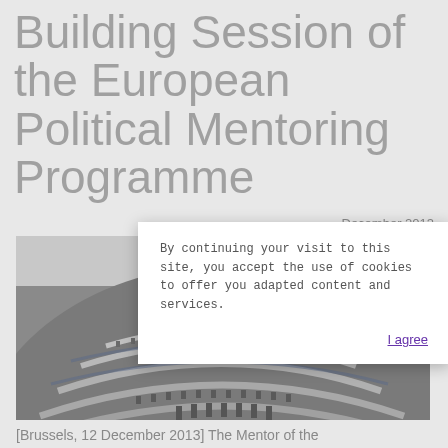Building Session of the European Political Mentoring Programme
December 2013
[Figure (photo): Aerial view of a hemicycle parliamentary chamber filled with seated delegates, resembling the European Parliament plenary hall.]
By continuing your visit to this site, you accept the use of cookies to offer you adapted content and services. I agree
[Brussels, 12 December 2013] The Mentor of the